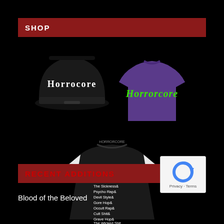SHOP
[Figure (photo): Three merchandise items: a black snapback hat with 'Horrorcre' gothic text, a purple t-shirt with green 'Horrorcore' metal logo, and a black and white baseball raglan shirt with a list of genre names including Acid Rap, Death Rap, Terrifying Styles, The Sickness, Psycho Rap, Devil Style, Gore Hop, Occult Rap, Cult Shit, Grave Hop, The Wicked Shit]
RECENT ADDITIONS
Blood of the Beloved
[Figure (logo): Google reCAPTCHA widget with blue circular arrow icon and Privacy - Terms text]